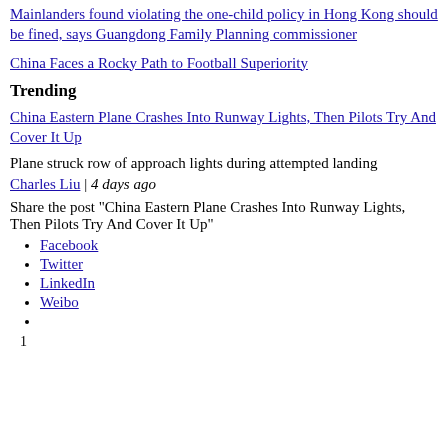Mainlanders found violating the one-child policy in Hong Kong should be fined, says Guangdong Family Planning commissioner
China Faces a Rocky Path to Football Superiority
Trending
China Eastern Plane Crashes Into Runway Lights, Then Pilots Try And Cover It Up
Plane struck row of approach lights during attempted landing
Charles Liu | 4 days ago
Share the post "China Eastern Plane Crashes Into Runway Lights, Then Pilots Try And Cover It Up"
Facebook
Twitter
LinkedIn
Weibo
1